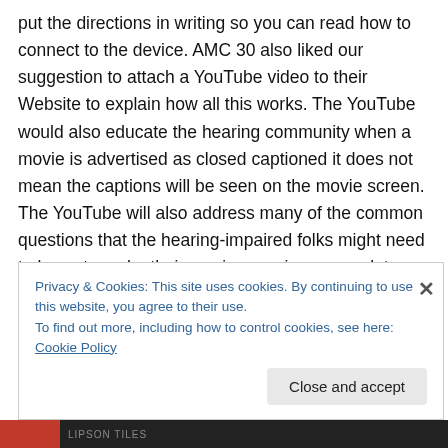put the directions in writing so you can read how to connect to the device. AMC 30 also liked our suggestion to attach a YouTube video to their Website to explain how all this works. The YouTube would also educate the hearing community when a movie is advertised as closed captioned it does not mean the captions will be seen on the movie screen. The YouTube will also address many of the common questions that the hearing-impaired folks might need to know to make their movie experience go a lot smoother.
Privacy & Cookies: This site uses cookies. By continuing to use this website, you agree to their use.
To find out more, including how to control cookies, see here: Cookie Policy